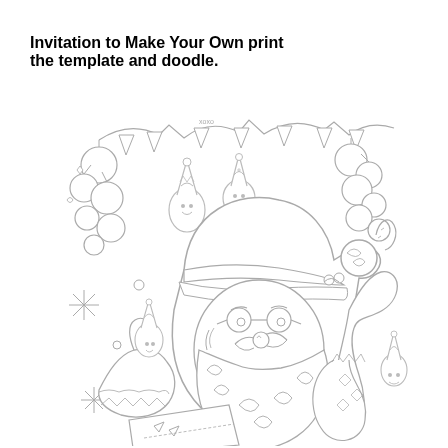Invitation to Make Your Own print the template and doodle.
[Figure (illustration): A detailed coloring-book style line drawing of Santa Claus wearing glasses and a hat, surrounded by Christmas elves, ornament clusters, garland banners, snowflakes, candy canes, and a stocking. The image is uncolored (black outlines on white), designed to be printed and colored in.]